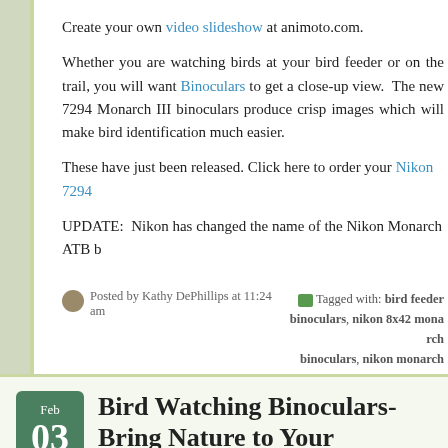Create your own video slideshow at animoto.com.
Whether you are watching birds at your bird feeder or on the trail, you will want Binoculars to get a close-up view. The new 7294 Monarch III binoculars produce crisp images which will make bird identification much easier.
These have just been released. Click here to order your Nikon 7294
UPDATE:  Nikon has changed the name of the Nikon Monarch ATB b
Posted by Kathy DePhillips at 11:24 am
Tagged with: bird feeder binoculars, nikon 8x42 monarch binoculars, nikon monarch 8x42, monarch atb, nikon monarch
Bird Watching Binoculars-Bring Na Feeder
Bird Watching Binoculars